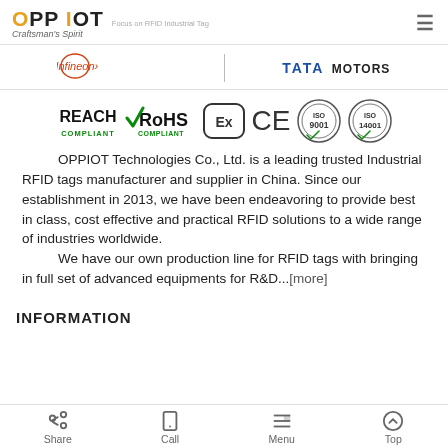OPP IOT Craftsman's Spirit — Focus on RFID Industrial Tag
[Figure (logo): Infineon and TATA MOTORS partner logos separated by a vertical divider]
[Figure (logo): Compliance certification logos: REACH COMPLIANT, RoHS COMPLIANT, ATEX (Ex), CE, ISO 9001, ISO 14001]
OPPIOT Technologies Co., Ltd. is a leading trusted Industrial RFID tags manufacturer and supplier in China. Since our establishment in 2013, we have been endeavoring to provide best in class, cost effective and practical RFID solutions to a wide range of industries worldwide.
    We have our own production line for RFID tags with bringing in full set of advanced equipments for R&D...[more]
INFORMATION
Share | Call | Menu | Top